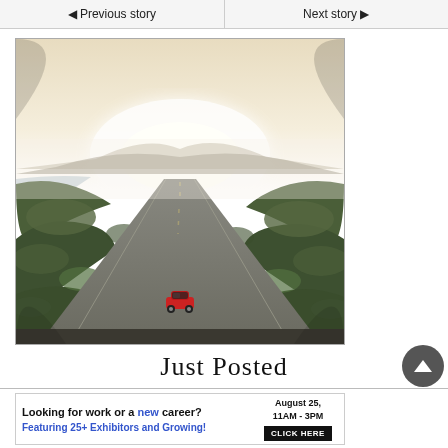◄ Previous story   Next story ►
[Figure (photo): Aerial view of a long straight road through green and brown hilly terrain, with a red car driving on the road toward a bright misty horizon with mountains and water in the distance]
Just Posted
[Figure (infographic): Advertisement banner: 'Looking for work or a new career? August 25, 11AM - 3PM. Featuring 25+ Exhibitors and Growing! CLICK HERE']